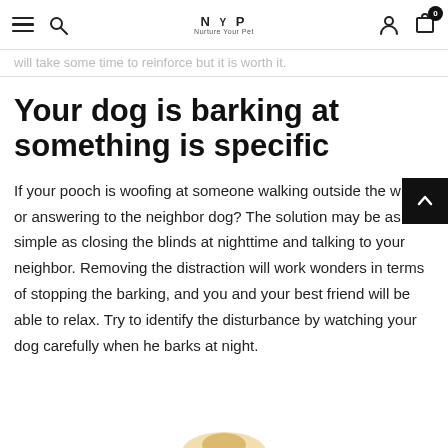NYP Nurture Your Pet — navigation header with hamburger, search, logo, user, and cart icons
will take some time to reinforce but it is worth it.
Your dog is barking at something is specific
If your pooch is woofing at someone walking outside the window or answering to the neighbor dog? The solution may be as simple as closing the blinds at nighttime and talking to your neighbor. Removing the distraction will work wonders in terms of stopping the barking, and you and your best friend will be able to relax. Try to identify the disturbance by watching your dog carefully when he barks at night.